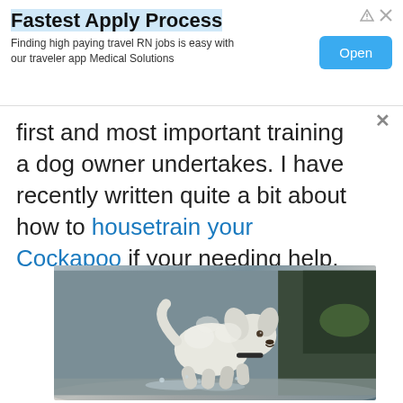[Figure (other): Advertisement banner: 'Fastest Apply Process' - Finding high paying travel RN jobs is easy with our traveler app Medical Solutions, with an Open button]
first and most important training a dog owner undertakes. I have recently written quite a bit about how to housetrain your Cockapoo if your needing help.
[Figure (photo): A white fluffy Cockapoo dog running and jumping through water/puddles, photographed in motion with fur flying]